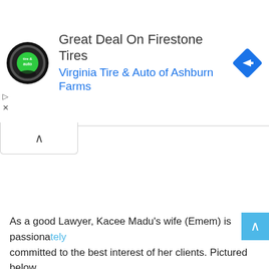[Figure (advertisement): Ad banner for Virginia Tire & Auto of Ashburn Farms featuring Firestone Tires. Contains circular tire & auto logo on left, ad text in center, and a blue diamond navigation icon on right.]
As a good Lawyer, Kacee Madu's wife (Emem) is passionately committed to the best interest of her clients. Pictured below,